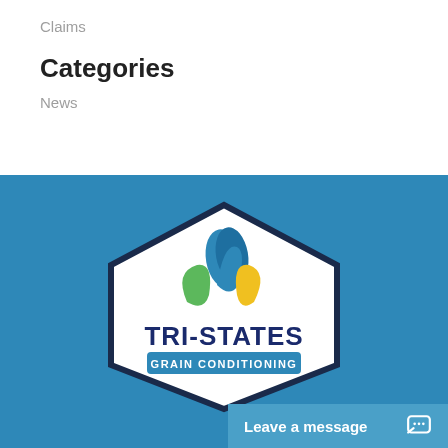Claims
Categories
News
[Figure (logo): Tri-States Grain Conditioning logo — hexagonal badge with three leaf shapes (blue, green, yellow) above the text TRI-STATES GRAIN CONDITIONING, on a blue background]
Leave a message